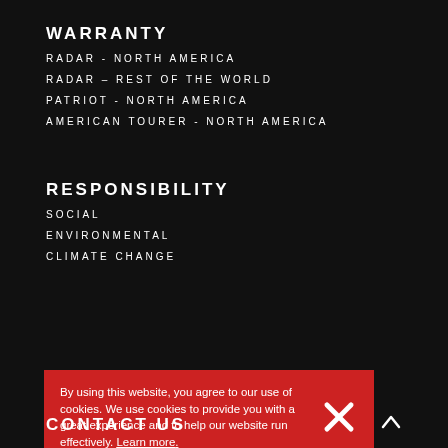WARRANTY
RADAR - NORTH AMERICA
RADAR – REST OF THE WORLD
PATRIOT - NORTH AMERICA
AMERICAN TOURER - NORTH AMERICA
RESPONSIBILITY
SOCIAL
ENVIRONMENTAL
CLIMATE CHANGE
By using this website, you agree to our use of cookies. We use cookies to provide you with a great experience and to help our website run effectively. Learn more.
OMNISOURCE
CONTACT US